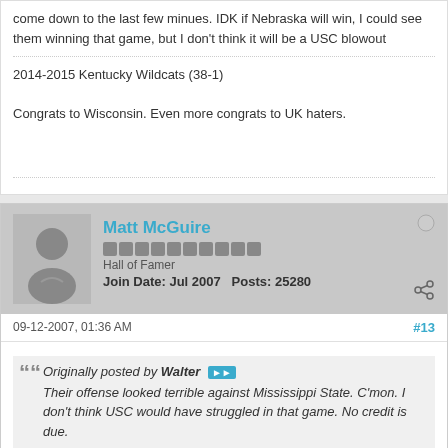come down to the last few minues. IDK if Nebraska will win, I could see them winning that game, but I don't think it will be a USC blowout
2014-2015 Kentucky Wildcats (38-1)
Congrats to Wisconsin. Even more congrats to UK haters.
Matt McGuire — Hall of Famer — Join Date: Jul 2007   Posts: 25280
09-12-2007, 01:36 AM
#13
Originally posted by Walter
Their offense looked terrible against Mississippi State. C'mon. I don't think USC would have struggled in that game. No credit is due.
Walter, as much as you criticize ESPN, you all are too much alike.
Every time they offer postgame analysis, they look for...